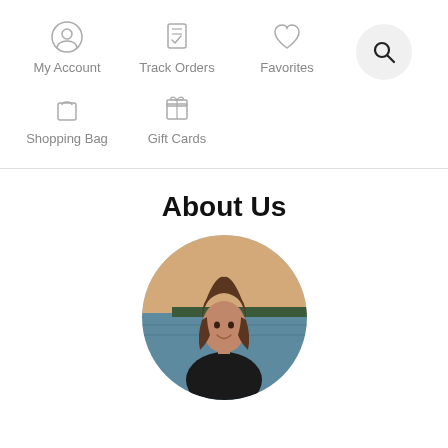[Figure (screenshot): Navigation menu with icons: My Account (person icon), Track Orders (clipboard with checkmark), Favorites (heart icon), Search (magnifying glass in circle), Shopping Bag (bag icon), Gift Cards (gift box icon)]
About Us
[Figure (photo): Circular profile photo of a woman with shoulder-length brown hair, smiling, with water and a shoreline visible in the background at dusk.]